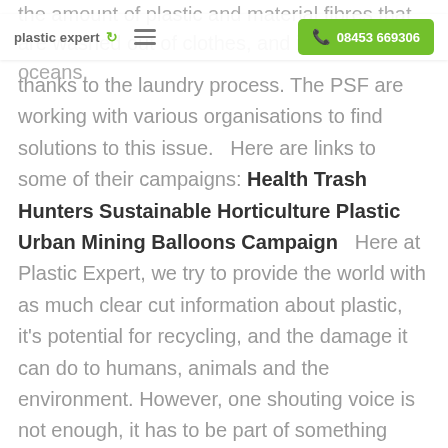plastic expert ↻  ≡   08453 669306
the amount of plastic and material fibres that are washed out of clothes, and into the oceans, thanks to the laundry process. The PSF are working with various organisations to find solutions to this issue.   Here are links to some of their campaigns: Health Trash Hunters Sustainable Horticulture Plastic Urban Mining Balloons Campaign   Here at Plastic Expert, we try to provide the world with as much clear cut information about plastic, it's potential for recycling, and the damage it can do to humans, animals and the environment. However, one shouting voice is not enough, it has to be part of something bigger, which is why we are so